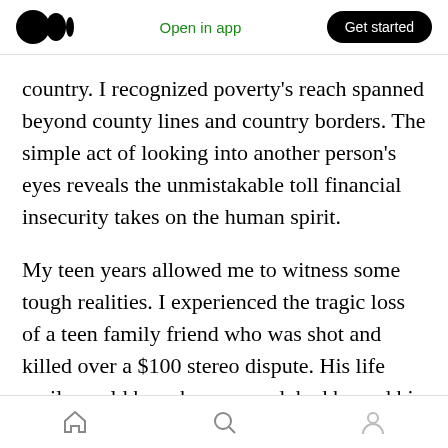Medium logo | Open in app | Get started
country. I recognized poverty’s reach spanned beyond county lines and country borders. The simple act of looking into another person’s eyes reveals the unmistakable toll financial insecurity takes on the human spirit.
My teen years allowed me to witness some tough realities. I experienced the tragic loss of a teen family friend who was shot and killed over a $100 stereo dispute. His life easily could have been spared, had he and his family not been under chronic financial pressure. Attending his funeral
Home | Search | Profile